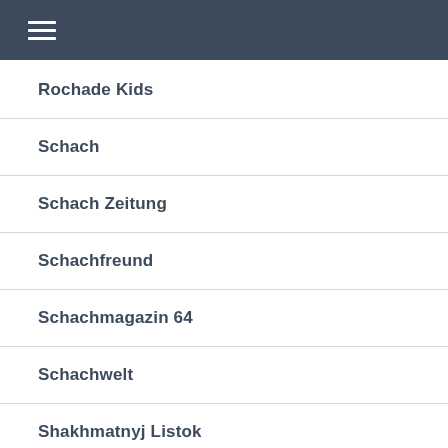≡
Rochade Kids
Schach
Schach Zeitung
Schachfreund
Schachmagazin 64
Schachwelt
Shakhmatnyj Listok
The American Chess World